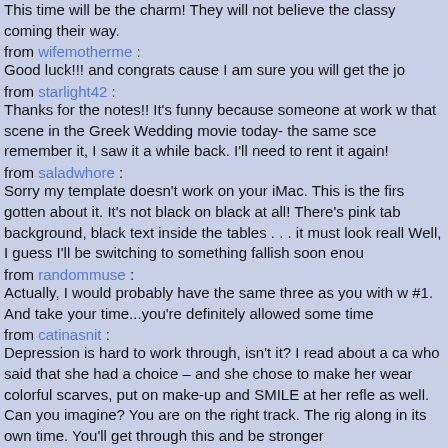This time will be the charm! They will not believe the classy coming their way.
from wifemotherme :
Good luck!!! and congrats cause I am sure you will get the jo
from starlight42 :
Thanks for the notes!! It's funny because someone at work w that scene in the Greek Wedding movie today- the same sce remember it, I saw it a while back. I'll need to rent it again!
from saladwhore :
Sorry my template doesn't work on your iMac. This is the firs gotten about it. It's not black on black at all! There's pink tab background, black text inside the tables . . . it must look reall Well, I guess I'll be switching to something fallish soon enou
from randommuse :
Actually, I would probably have the same three as you with w #1. And take your time...you're definitely allowed some time
from catinasnit :
Depression is hard to work through, isn't it? I read about a ca who said that she had a choice – and she chose to make her wear colorful scarves, put on make-up and SMILE at her refle as well. Can you imagine? You are on the right track. The rig along in its own time. You'll get through this and be stronger
from radiogurl :
Intriguing question. I haven't had a lot of time off but I know